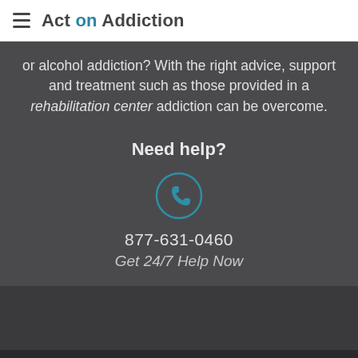Act on Addiction
or alcohol addiction? With the right advice, support and treatment such as those provided in a rehabilitation center addiction can be overcome.
Need help?
[Figure (illustration): Phone handset icon inside a circle, teal/blue color]
877-631-0460
Get 24/7 Help Now
© 2022 actonaddiction.org . - Find a drug and alcohol rehab center near me | Privacy Policy | Terms and Conditions | Advertise with Us